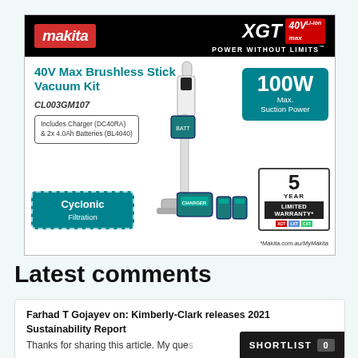[Figure (advertisement): Makita XGT 40V Max Brushless Stick Vacuum Kit advertisement. Product model CL003GM107. Features 100W Max Suction Power, Cyclonic Filtration, 5 Year Limited Warranty. Includes Charger DC40RA and 2x 4.0Ah Batteries BL4040. Website: Makita.com.au/MyMakita]
Latest comments
Farhad T Gojayev on: Kimberly-Clark releases 2021 Sustainability Report
Thanks for sharing this article. My que...